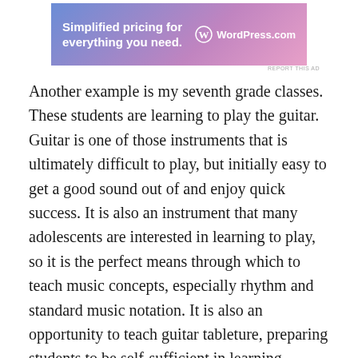[Figure (other): WordPress.com advertisement banner with text 'Simplified pricing for everything you need.' and WordPress.com logo]
Another example is my seventh grade classes. These students are learning to play the guitar. Guitar is one of those instruments that is ultimately difficult to play, but initially easy to get a good sound out of and enjoy quick success. It is also an instrument that many adolescents are interested in learning to play, so it is the perfect means through which to teach music concepts, especially rhythm and standard music notation. It is also an opportunity to teach guitar tableture, preparing students to be self-sufficient in learning hundreds of songs on their own once they are finished with my class. Again, my goal is not to make world class guitarists out of any of them, but to use the guitar to improve their musical skills, and give them a means by which they can enjoy music making throughout